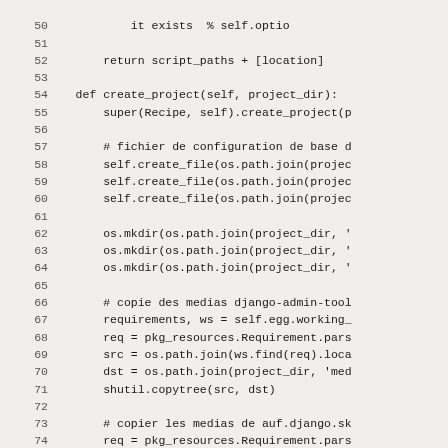[Figure (screenshot): Python source code listing, lines 50-82, showing a create_project method with file/directory creation and media copy operations using os.path, shutil, and pkg_resources.]